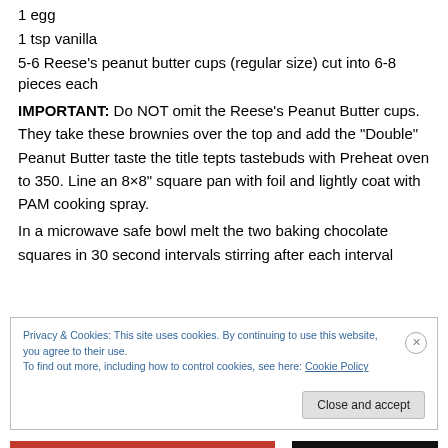1 egg
1 tsp vanilla
5-6 Reese's peanut butter cups (regular size) cut into 6-8 pieces each
IMPORTANT: Do NOT omit the Reese's Peanut Butter cups. They take these brownies over the top and add the “Double” Peanut Butter taste the title tepts tastebuds with Preheat oven to 350. Line an 8×8” square pan with foil and lightly coat with PAM cooking spray.
In a microwave safe bowl melt the two baking chocolate squares in 30 second intervals stirring after each interval
Privacy & Cookies: This site uses cookies. By continuing to use this website, you agree to their use.
To find out more, including how to control cookies, see here: Cookie Policy